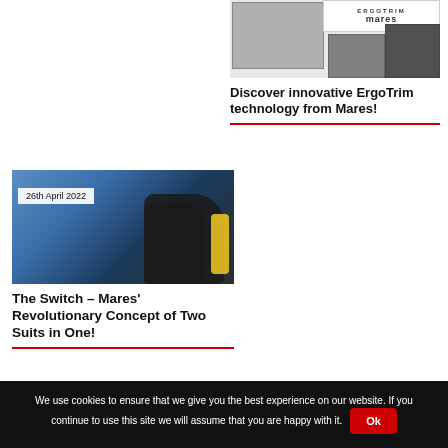[Figure (photo): ErgoTrim product image from Mares showing dive equipment with brand logo]
Discover innovative ErgoTrim technology from Mares!
[Figure (photo): Diver in wetsuit with yellow tank, dated 26th April 2022]
26th April 2022
The Switch – Mares' Revolutionary Concept of Two Suits in One!
We use cookies to ensure that we give you the best experience on our website. If you continue to use this site we will assume that you are happy with it.